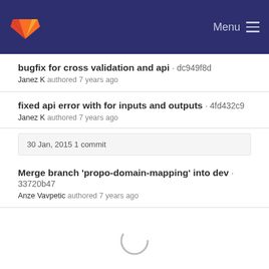GitLab — Menu
bugfix for cross validation and api · dc949f8d
Janez K authored 7 years ago
fixed api error with for inputs and outputs · 4fd432c9
Janez K authored 7 years ago
30 Jan, 2015 1 commit
Merge branch 'propo-domain-mapping' into dev · 33720b47
Anze Vavpetic authored 7 years ago
[Figure (other): Loading spinner circle indicator]